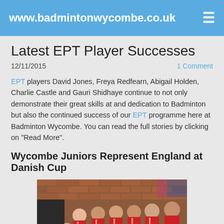www.badmintonwycombe.co.uk
Latest EPT Player Successes
12/11/2015   1 Comment
EPT players David Jones, Freya Redfearn, Abigail Holden, Charlie Castle and Gauri Shidhaye continue to not only demonstrate their great skills at and dedication to Badminton but also the continued success of our EPT programme here at Badminton Wycombe. You can read the full stories by clicking on "Read More".
Wycombe Juniors Represent England at Danish Cup
[Figure (photo): Group photo of young badminton players in red England tracksuits standing and posing together, likely in a sports hall with brick walls in the background.]